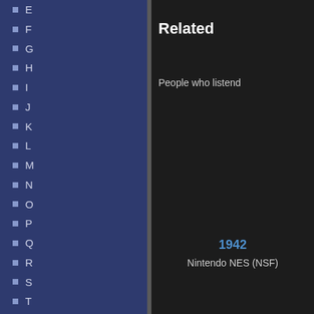E
F
G
H
I
J
K
L
M
N
O
P
Q
R
S
T
U
V
W
X
Y
Related
People who listend
1942
Nintendo NES (NSF)